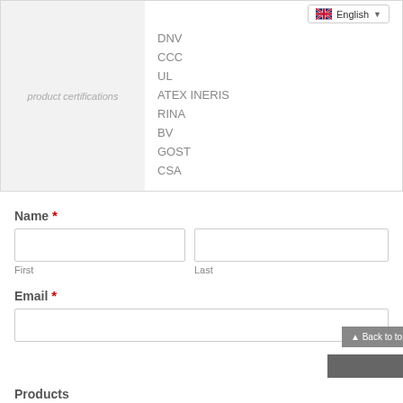| product certifications |  |
| --- | --- |
|  | DNV |
|  | CCC |
|  | UL |
|  | ATEX INERIS |
|  | RINA |
|  | BV |
|  | GOST |
|  | CSA |
Name *
First
Last
Email *
Products